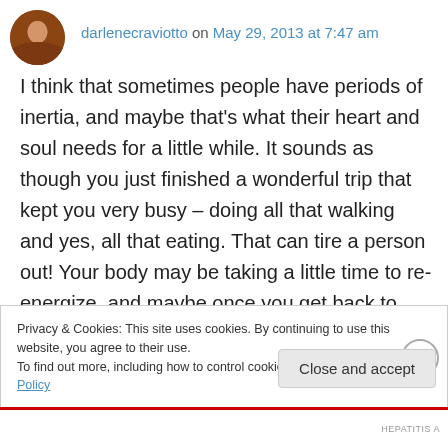darlenecraviotto on May 29, 2013 at 7:47 am
I think that sometimes people have periods of inertia, and maybe that’s what their heart and soul needs for a little while. It sounds as though you just finished a wonderful trip that kept you very busy – doing all that walking and yes, all that eating. That can tire a person out! Your body may be taking a little time to re- energize, and maybe once you get back to your normal schedule, your normal days you will feel that
Privacy & Cookies: This site uses cookies. By continuing to use this website, you agree to their use.
To find out more, including how to control cookies, see here: Cookie Policy
Close and accept